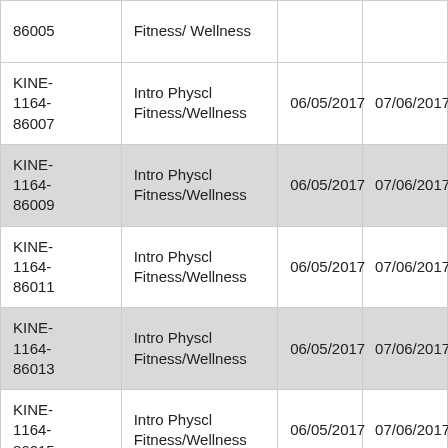| 86005 | Fitness/Wellness |  |  |
| KINE-1164-86007 | Intro Physcl Fitness/Wellness | 06/05/2017 | 07/06/2017 |
| KINE-1164-86009 | Intro Physcl Fitness/Wellness | 06/05/2017 | 07/06/2017 |
| KINE-1164-86011 | Intro Physcl Fitness/Wellness | 06/05/2017 | 07/06/2017 |
| KINE-1164-86013 | Intro Physcl Fitness/Wellness | 06/05/2017 | 07/06/2017 |
| KINE-1164-86015 | Intro Physcl Fitness/Wellness | 06/05/2017 | 07/06/2017 |